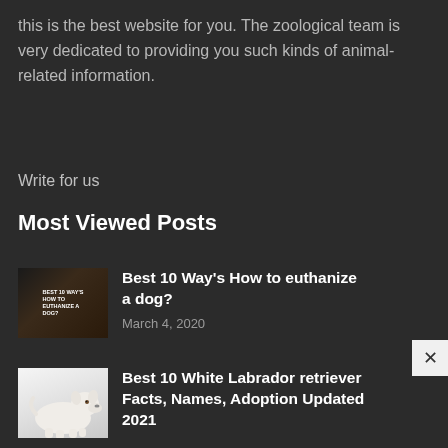this is the best website for you. The zoological team is very dedicated to providing you such kinds of animal-related information.
Write for us
Most Viewed Posts
[Figure (photo): Thumbnail image for article about euthanizing a dog, dark background with text overlay reading BEST 10 WAYS HOW TO EUTHANIZE A DOG]
Best 10 Way's How to euthanize a dog?
March 4, 2020
[Figure (photo): Photo of a white Labrador retriever puppy on a white background]
Best 10 White Labrador retriever Facts, Names, Adoption Updated 2021